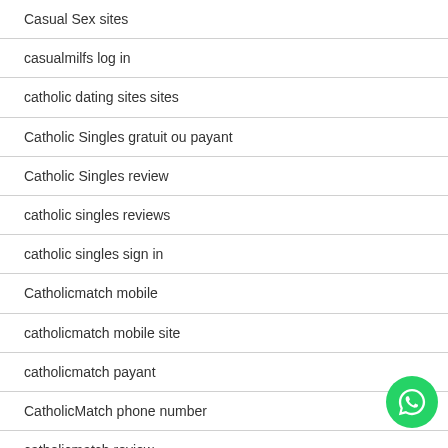Casual Sex sites
casualmilfs log in
catholic dating sites sites
Catholic Singles gratuit ou payant
Catholic Singles review
catholic singles reviews
catholic singles sign in
Catholicmatch mobile
catholicmatch mobile site
catholicmatch payant
CatholicMatch phone number
catholicmatch review
catholicmatch reviews dating site